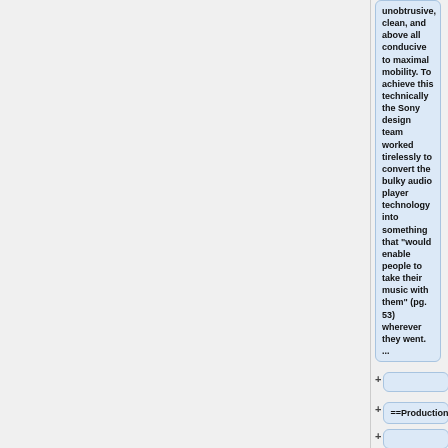unobtrusive, clean, and above all conducive to maximal mobility. To achieve this technically the Sony design team worked tirelessly to convert the bulky audio player technology into something that "would enable people to take their music with them" (pg. 53) wherever they went. ...
==Production==
As we saw in the previous section, Sony conceived of